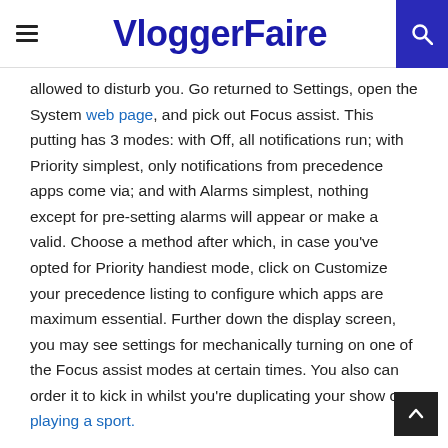VloggerFaire
allowed to disturb you. Go returned to Settings, open the System web page, and pick out Focus assist. This putting has 3 modes: with Off, all notifications run; with Priority simplest, only notifications from precedence apps come via; and with Alarms simplest, nothing except for pre-setting alarms will appear or make a valid. Choose a method after which, in case you've opted for Priority handiest mode, click on Customize your precedence listing to configure which apps are maximum essential. Further down the display screen, you may see settings for mechanically turning on one of the Focus assist modes at certain times. You also can order it to kick in whilst you're duplicating your show or playing a sport.
On macOS computer systems: